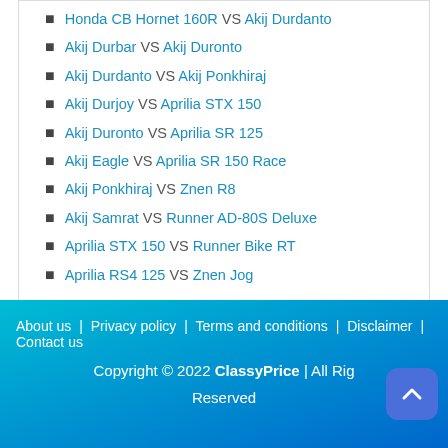Honda CB Hornet 160R VS Akij Durdanto
Akij Durbar VS Akij Duronto
Akij Durdanto VS Akij Ponkhiraj
Akij Durjoy VS Aprilia STX 150
Akij Duronto VS Aprilia SR 125
Akij Eagle VS Aprilia SR 150 Race
Akij Ponkhiraj VS Znen R8
Akij Samrat VS Runner AD-80S Deluxe
Aprilia STX 150 VS Runner Bike RT
Aprilia RS4 125 VS Znen Jog
About us | Privacy policy | Terms and conditions | Disclaimer | Contact us
Copyright © 2022 ClassyPrice | All Rights Reserved